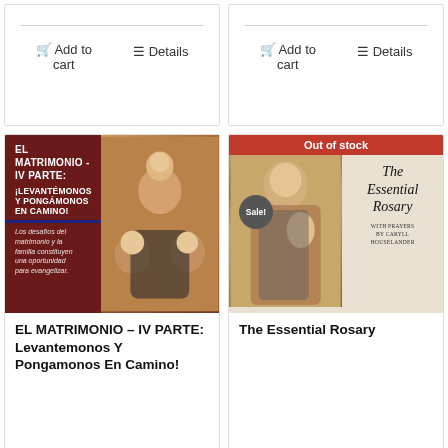[Figure (screenshot): Product card top: Add to cart and Details buttons (left card, partial view)]
[Figure (screenshot): Product card top: Add to cart and Details buttons (right card, partial view)]
[Figure (illustration): Book cover: EL MATRIMONIO - IV PARTE: LEVANTEMONOS Y PONGAMONOS EN CAMINO! with family photo]
EL MATRIMONIO – IV PARTE: Levantemonos Y Pongamonos En Camino!
[Figure (illustration): Book cover: The Essential Rosary with Out of stock banner and Sale badge, painting of Mary and Child]
The Essential Rosary